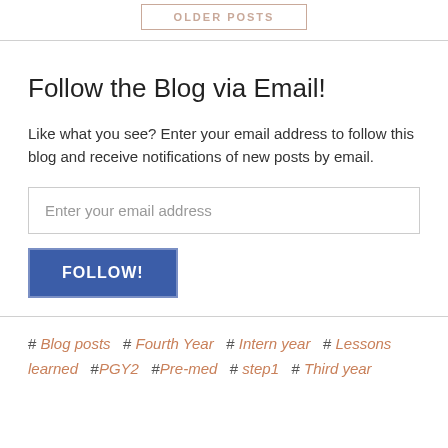[Figure (other): OLDER POSTS button with border, centered at top]
Follow the Blog via Email!
Like what you see? Enter your email address to follow this blog and receive notifications of new posts by email.
Enter your email address
FOLLOW!
# Blog posts  # Fourth Year  # Intern year  # Lessons learned  # PGY2  # Pre-med  # step1  # Third year